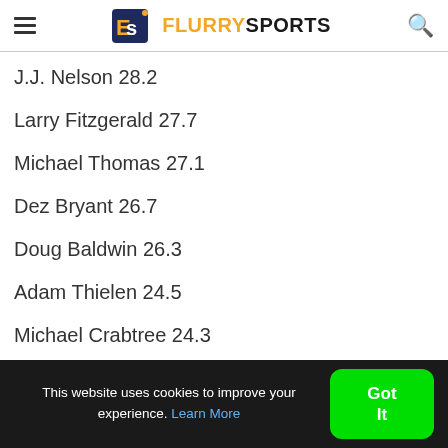FlurrySports
J.J. Nelson 28.2
Larry Fitzgerald 27.7
Michael Thomas 27.1
Dez Bryant 26.7
Doug Baldwin 26.3
Adam Thielen 24.5
Michael Crabtree 24.3
This website uses cookies to improve your experience. Learn More  Got It